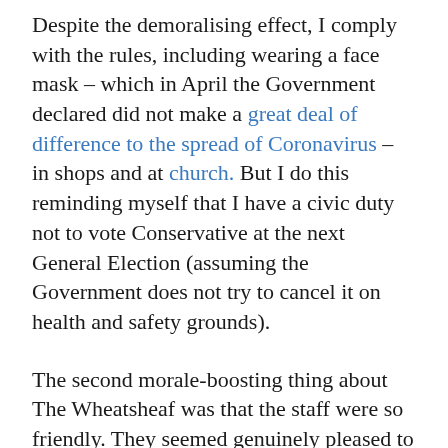Despite the demoralising effect, I comply with the rules, including wearing a face mask – which in April the Government declared did not make a great deal of difference to the spread of Coronavirus –  in shops and at church. But I do this reminding myself that I have a civic duty not to vote Conservative at the next General Election (assuming the Government does not try to cancel it on health and safety grounds).
The second morale-boosting thing about The Wheatsheaf was that the staff were so friendly. They seemed genuinely pleased to see customers in their pub. In our socially-distanced, faced-covered society, it was such a blessing not to be made to feel that my very presence was a threat to other people's health and safety.
Thirdly, there was a varied menu and the